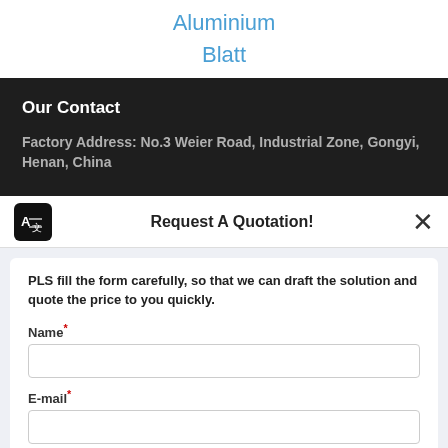Aluminium
Blatt
Our Contact
Factory Address: No.3 Weier Road, Industrial Zone, Gongyi, Henan, China
Request A Quotation!
PLS fill the form carefully, so that we can draft the solution and quote the price to you quickly.
Name*
E-mail*
Message*